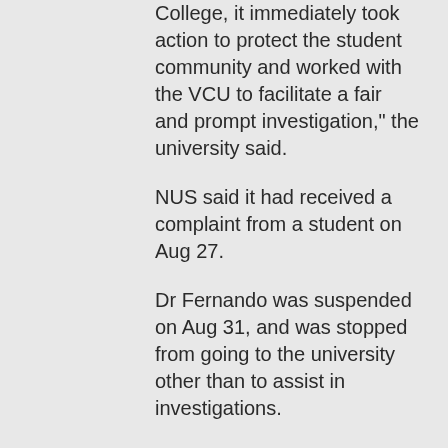College, it immediately took action to protect the student community and worked with the VCU to facilitate a fair and prompt investigation," the university said.
NUS said it had received a complaint from a student on Aug 27.
Dr Fernando was suspended on Aug 31, and was stopped from going to the university other than to assist in investigations.
NUS interviewed Dr Fernando on Sept 1 on the complaint. It